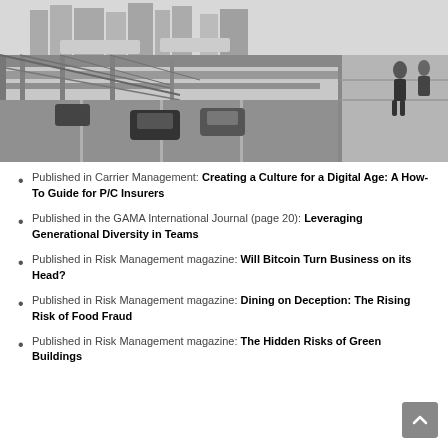[Figure (photo): Black and white photograph taken from a bridge showing traffic lanes with cars below, bridge structural steel and cables visible, city skyscrapers in the background, pedestrians on the walkway at right edge.]
Published in Carrier Management: Creating a Culture for a Digital Age: A How-To Guide for P/C Insurers
Published in the GAMA International Journal (page 20): Leveraging Generational Diversity in Teams
Published in Risk Management magazine: Will Bitcoin Turn Business on its Head?
Published in Risk Management magazine: Dining on Deception: The Rising Risk of Food Fraud
Published in Risk Management magazine: The Hidden Risks of Green Buildings